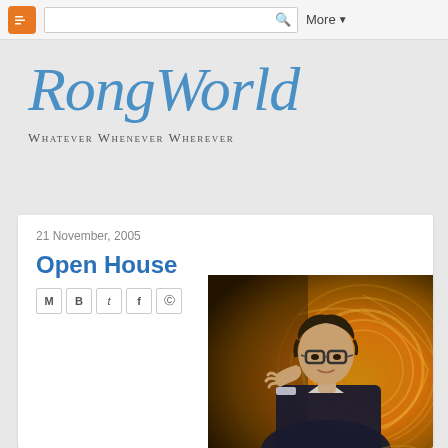Blogger navbar with logo, search box, and More menu
RongWorld
Whatever Whenever Wherever
21 November, 2005
Open House
[Figure (photo): Man with glasses in a dark blazer, hand raised to temple, with blurred circular light trails in background (carousel/amusement park setting)]